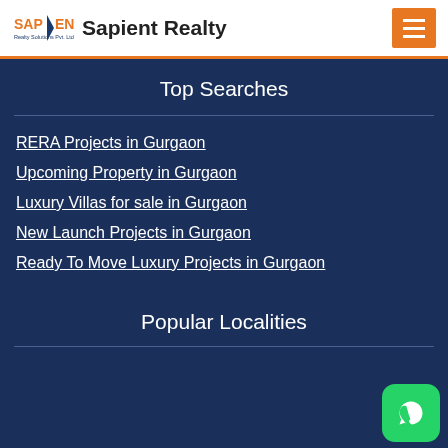Sapient Realty
Top Searches
RERA Projects in Gurgaon
Upcoming Property in Gurgaon
Luxury Villas for sale in Gurgaon
New Launch Projects in Gurgaon
Ready To Move Luxury Projects in Gurgaon
Popular Localities